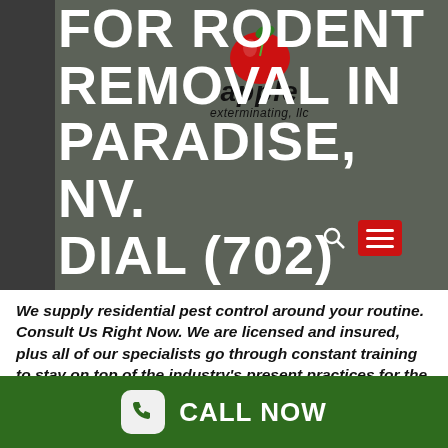[Figure (logo): Apple Exterminating LLC logo with red apple and italic text]
FOR RODENT REMOVAL IN PARADISE, NV. DIAL (702) 795-2779.
We supply residential pest control around your routine. Consult Us Right Now. We are licensed and insured, plus all of our specialists go through constant training to stay on top of the industry's present practices for the removal of pests from
CALL NOW